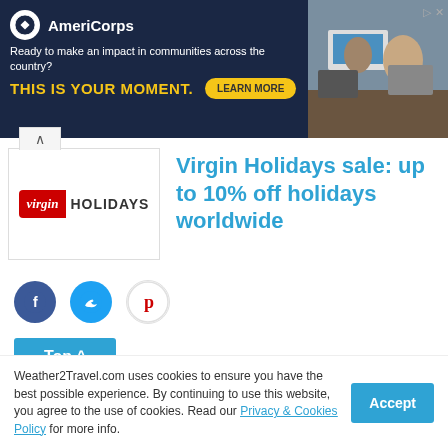[Figure (advertisement): AmeriCorps banner ad with dark navy background, logo, tagline 'Ready to make an impact in communities across the country? THIS IS YOUR MOMENT.' with Learn More button and photo of people at computers on right side.]
[Figure (logo): Virgin Holidays logo: red tag shape with 'virgin' in white italic script, followed by 'HOLIDAYS' in dark bold text]
Virgin Holidays sale: up to 10% off holidays worldwide
[Figure (infographic): Three social media share icons: Facebook (dark blue circle with f), Twitter (light blue circle with bird), Pinterest (white circle with red p)]
Top ^
*affiliate links: find out how we are funded and why this helps us remain free to use.
Weather2Travel.com uses cookies to ensure you have the best possible experience. By continuing to use this website, you agree to the use of cookies. Read our Privacy & Cookies Policy for more info.